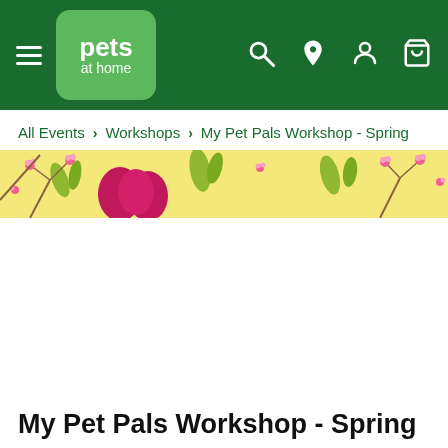Pets at Home navigation bar with hamburger menu, logo, search, location, account, and basket icons
All Events > Workshops > My Pet Pals Workshop - Spring
[Figure (illustration): Spring-themed banner with yellow background, pink Easter eggs, pink cherry blossom flowers on branches, and green leaf patterns]
My Pet Pals Workshop - Spring